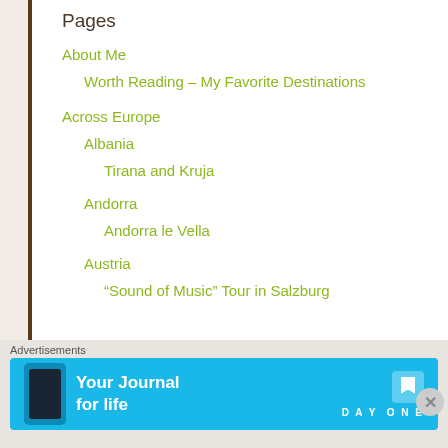Pages
About Me
Worth Reading – My Favorite Destinations
Across Europe
Albania
Tirana and Kruja
Andorra
Andorra le Vella
Austria
“Sound of Music” Tour in Salzburg
Advertisements
[Figure (other): Day One app advertisement banner with text 'Your Journal for life' on blue background with phone image and bookmark logo]